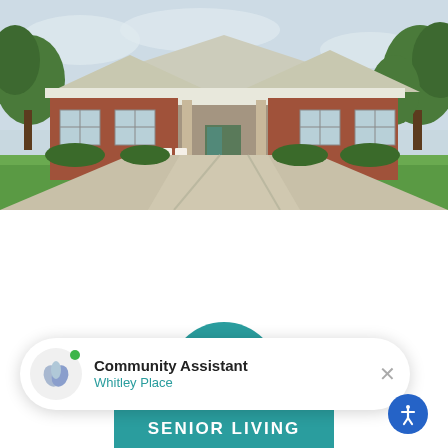[Figure (photo): Exterior photo of Whitley Place senior living facility — a single-story brick building with white roof, covered entrance/porte-cochère, rocking chairs on porch, surrounded by green trees and a concrete driveway]
[Figure (logo): Whitley Place Senior Living teal circular logo, partially visible at bottom center]
Community Assistant
Whitley Place
[Figure (infographic): Senior Living text banner in teal at the bottom]